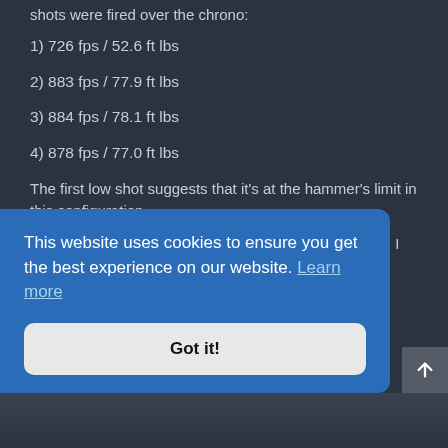...though I'd push my luck and took it to 1700 psi, another 4 shots were fired over the chrono:
1) 726 fps / 52.6 ft lbs
2) 883 fps / 77.9 ft lbs
3) 884 fps / 78.1 ft lbs
4) 878 fps / 77.0 ft lbs
The first low shot suggests that it's at the hammer's limit in this configuration.
More shots starting at 1700 psi showed similar results. I think I ...tively ...ort of ... to
This website uses cookies to ensure you get the best experience on our website. Learn more
Got it!